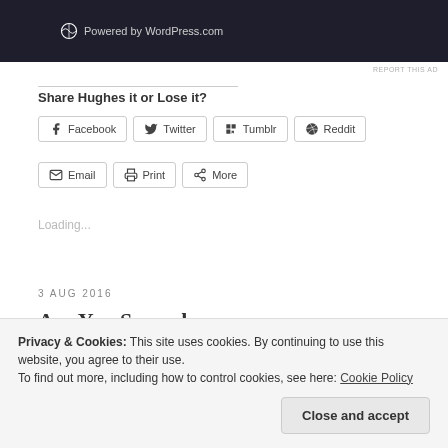[Figure (screenshot): Dark banner with WordPress.com logo and 'Powered by WordPress.com' text]
REPORT THIS AD
Share Hughes it or Lose it?
Facebook  Twitter  Tumblr  Reddit  Email  Print  More
Loading...
3 AUG 2016
Are You Second
Privacy & Cookies: This site uses cookies. By continuing to use this website, you agree to their use.
To find out more, including how to control cookies, see here: Cookie Policy
Close and accept